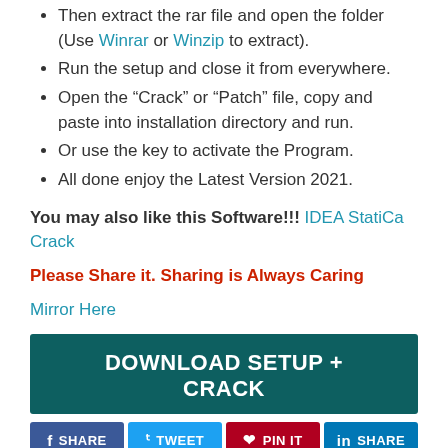Then extract the rar file and open the folder (Use Winrar or Winzip to extract).
Run the setup and close it from everywhere.
Open the “Crack” or “Patch” file, copy and paste into installation directory and run.
Or use the key to activate the Program.
All done enjoy the Latest Version 2021.
You may also like this Software!!! IDEA StatiCa Crack
Please Share it. Sharing is Always Caring
Mirror Here
DOWNLOAD SETUP + CRACK
SHARE  TWEET  PIN IT  SHARE